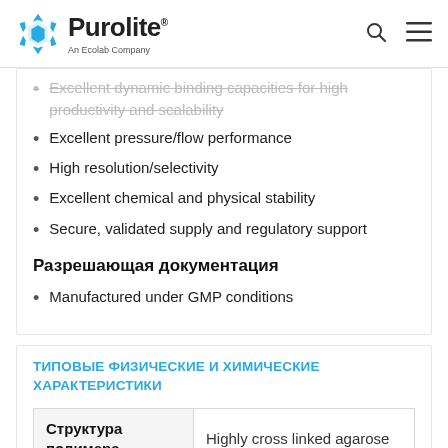Purolite — An Ecolab Company
Excellent dynamic binding capacities for high productivity and scalability
Excellent pressure/flow performance
High resolution/selectivity
Excellent chemical and physical stability
Secure, validated supply and regulatory support
Разрешающая документация
Manufactured under GMP conditions
ТИПОВЫЕ ФИЗИЧЕСКИЕ И ХИМИЧЕСКИЕ ХАРАКТЕРИСТИКИ
| Структура полимера |  |
| --- | --- |
| Структура полимера | Highly cross linked agarose |